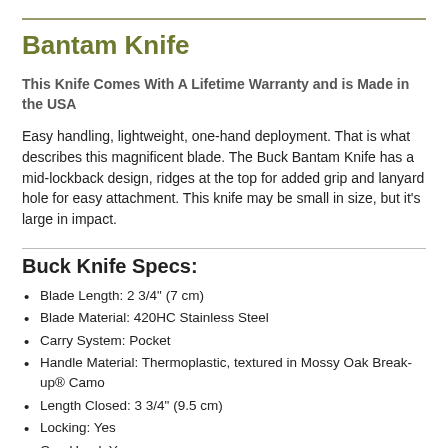Bantam Knife
This Knife Comes With A Lifetime Warranty and is Made in the USA
Easy handling, lightweight, one-hand deployment. That is what describes this magnificent blade. The Buck Bantam Knife has a mid-lockback design, ridges at the top for added grip and lanyard hole for easy attachment. This knife may be small in size, but it's large in impact.
Buck Knife Specs:
Blade Length: 2 3/4" (7 cm)
Blade Material: 420HC Stainless Steel
Carry System: Pocket
Handle Material: Thermoplastic, textured in Mossy Oak Break-up® Camo
Length Closed: 3 3/4" (9.5 cm)
Locking: Yes
One Hand: Yes